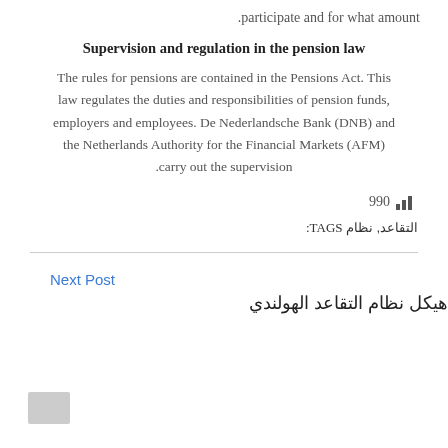participate and for what amount.
Supervision and regulation in the pension law
The rules for pensions are contained in the Pensions Act. This law regulates the duties and responsibilities of pension funds, employers and employees. De Nederlandsche Bank (DNB) and the Netherlands Authority for the Financial Markets (AFM) carry out the supervision.
990
TAGS: التقاعد, نظام
Next Post
هيكل نظام التقاعد الهولندي